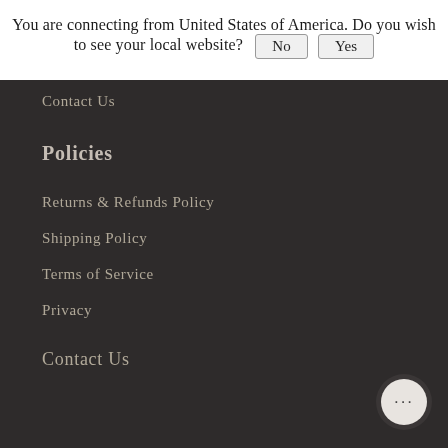You are connecting from United States of America. Do you wish to see your local website? No Yes
Contact Us
Policies
Returns & Refunds Policy
Shipping Policy
Terms of Service
Privacy
Contact Us